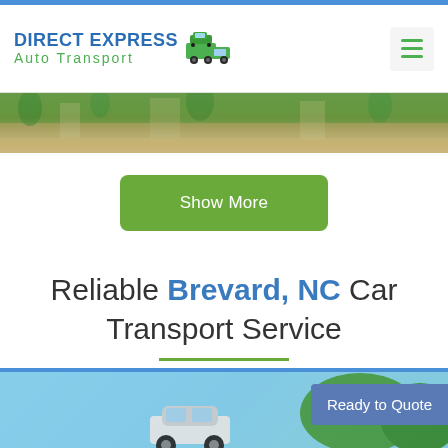[Figure (logo): Direct Express Auto Transport logo with truck icon]
[Figure (photo): Hero banner image showing tropical/residential landscape with trees and buildings]
Show More
Reliable Brevard, NC Car Transport Service
[Figure (photo): Car transport image showing a small car being transported, with blue sky and green trees in background, with a 'Ready to Quote' badge overlay]